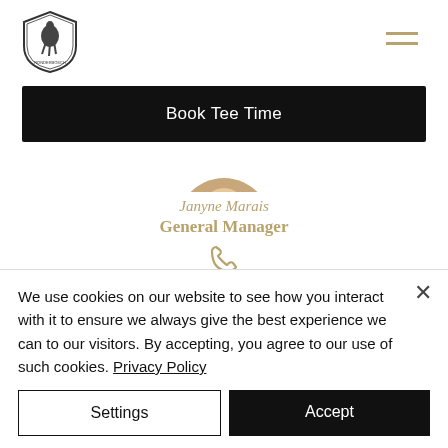[Figure (logo): Club logo with bird emblem in shield shape, text around border]
[Figure (illustration): Hamburger menu icon with two horizontal lines in gold/tan color]
Book Tee Time
[Figure (photo): Circular cropped profile photo showing bottom portion of person's face/shoulders]
Janyne Marais
General Manager
[Figure (illustration): Phone handset icon in gold/tan color]
+27 21 847 2501
We use cookies on our website to see how you interact with it to ensure we always give the best experience we can to our visitors. By accepting, you agree to our use of such cookies. Privacy Policy
Settings
Accept